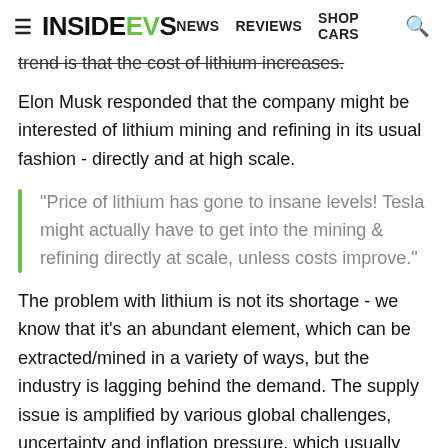InsideEVs | NEWS | REVIEWS | SHOP CARS
trend is that the cost of lithium increases.
Elon Musk responded that the company might be interested of lithium mining and refining in its usual fashion - directly and at high scale.
"Price of lithium has gone to insane levels! Tesla might actually have to get into the mining & refining directly at scale, unless costs improve."
The problem with lithium is not its shortage - we know that it's an abundant element, which can be extracted/mined in a variety of ways, but the industry is lagging behind the demand. The supply issue is amplified by various global challenges, uncertainty and inflation pressure, which usually affect commodity